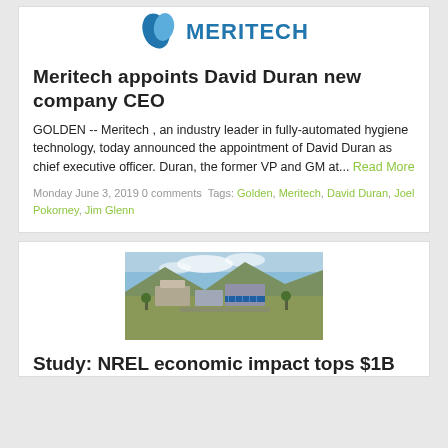[Figure (logo): Meritech logo with blue leaf/droplet icon and blue bold text MERITECH]
Meritech appoints David Duran new company CEO
GOLDEN -- Meritech , an industry leader in fully-automated hygiene technology, today announced the appointment of David Duran as chief executive officer. Duran, the former VP and GM at... Read More
Monday June 3, 2019 0 comments Tags: Golden, Meritech, David Duran, Joel Pokorney, Jim Glenn
[Figure (photo): Aerial photo of NREL campus buildings with mountains and blue sky in background]
Study: NREL economic impact tops $1B